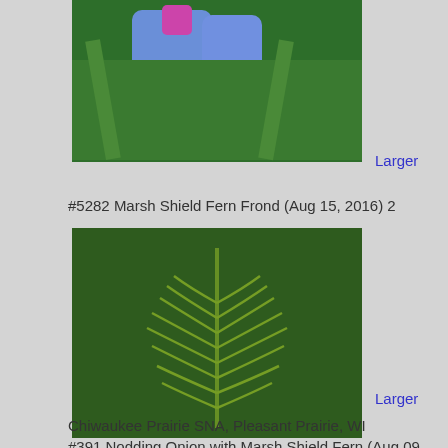[Figure (photo): Close-up photo of blue flowers with green foliage]
Larger
#5282 Marsh Shield Fern Frond (Aug 15, 2016) 2
[Figure (photo): Photo of a Marsh Shield Fern frond with bright green leaves against dark green background]
Larger
Chiwaukee Prairie SNA, Pleasant Prairie, WI
#391 Nodding Onion with Marsh Shield Fern (Aug 09, 2014) 3
[Figure (photo): Photo of Nodding Onion flowers with Marsh Shield Fern, white drooping flowers visible]